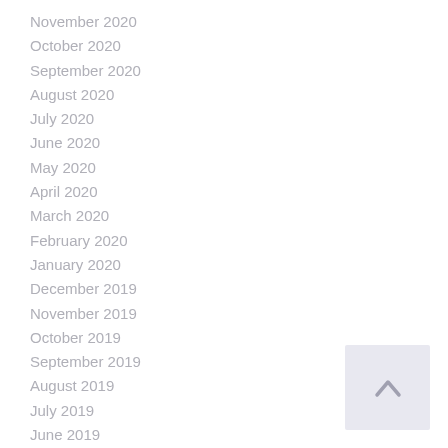November 2020
October 2020
September 2020
August 2020
July 2020
June 2020
May 2020
April 2020
March 2020
February 2020
January 2020
December 2019
November 2019
October 2019
September 2019
August 2019
July 2019
June 2019
May 2019
April 2019
March 2019
[Figure (other): Scroll to top button with upward chevron arrow]